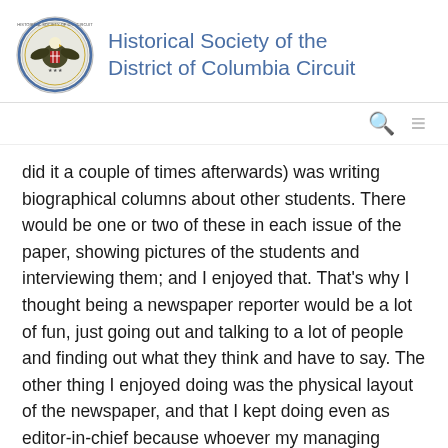Historical Society of the District of Columbia Circuit
did it a couple of times afterwards) was writing biographical columns about other students. There would be one or two of these in each issue of the paper, showing pictures of the students and interviewing them; and I enjoyed that. That's why I thought being a newspaper reporter would be a lot of fun, just going out and talking to a lot of people and finding out what they think and have to say. The other thing I enjoyed doing was the physical layout of the newspaper, and that I kept doing even as editor-in-chief because whoever my managing editor was or whoever was supposed to do it didn't quite comprehend